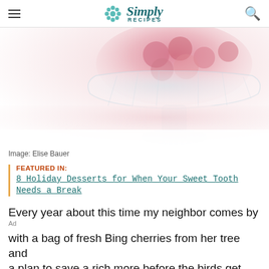Simply Recipes
[Figure (photo): Close-up photo of a crystal glass dessert dish containing pink cherries, on a white background, blurred/defocused]
Image: Elise Bauer
FEATURED IN:
8 Holiday Desserts for When Your Sweet Tooth Needs a Break
Every year about this time my neighbor comes by with a bag of fresh Bing cherries from her tree and a plan to save a rich more before the birds get